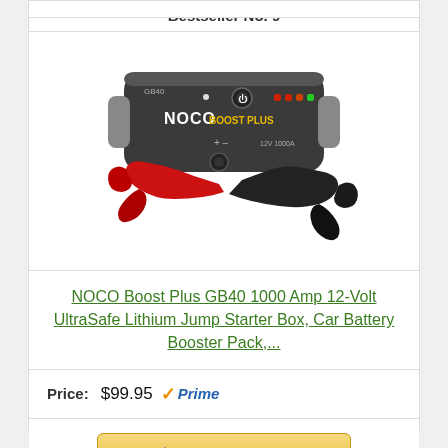Bestseller No. 9
[Figure (photo): NOCO Boost Plus GB40 jump starter device with red and black clamps, shown from above on white background]
NOCO Boost Plus GB40 1000 Amp 12-Volt UltraSafe Lithium Jump Starter Box, Car Battery Booster Pack,...
Price: $99.95 Prime
Buy On Amazon